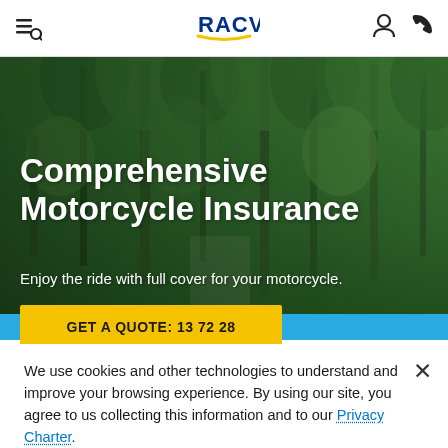RACV
[Figure (photo): Forest road background image with trees. Used as hero banner for Comprehensive Motorcycle Insurance page.]
Comprehensive Motorcycle Insurance
Enjoy the ride with full cover for your motorcycle.
GET A QUOTE: 13 72 28
We use cookies and other technologies to understand and improve your browsing experience. By using our site, you agree to us collecting this information and to our Privacy Charter.